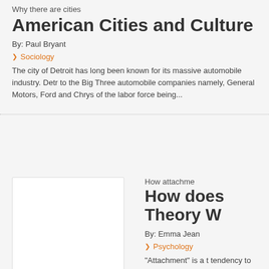Why there are cities
American Cities and Culture
By: Paul Bryant
Sociology
The city of Detroit has long been known for its massive automobile industry. Detr... to the Big Three automobile companies namely, General Motors, Ford and Chrys... of the labor force being...
[Figure (photo): Thumbnail image placeholder (white box)]
How attachme
How does Attachment Theory W
By: Emma Jean
Psychology
“Attachment” is a t tendency to prefer mother) over other to use her presenc world...